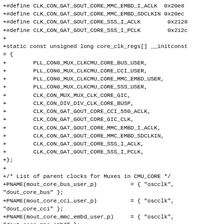+#define CLK_CON_GAT_GOUT_CORE_MMC_EMBD_I_ACLK  0x20e8
+#define CLK_CON_GAT_GOUT_CORE_MMC_EMBD_SDCLKIN 0x20ec
+#define CLK_CON_GAT_GOUT_CORE_SSS_I_ACLK        0x2128
+#define CLK_CON_GAT_GOUT_CORE_SSS_I_PCLK        0x212c
+
+static const unsigned long core_clk_regs[] __initconst = {
+       PLL_CON0_MUX_CLKCMU_CORE_BUS_USER,
+       PLL_CON0_MUX_CLKCMU_CORE_CCI_USER,
+       PLL_CON0_MUX_CLKCMU_CORE_MMC_EMBD_USER,
+       PLL_CON0_MUX_CLKCMU_CORE_SSS_USER,
+       CLK_CON_MUX_MUX_CLK_CORE_GIC,
+       CLK_CON_DIV_DIV_CLK_CORE_BUSP,
+       CLK_CON_GAT_GOUT_CORE_CCI_550_ACLK,
+       CLK_CON_GAT_GOUT_CORE_GIC_CLK,
+       CLK_CON_GAT_GOUT_CORE_MMC_EMBD_I_ACLK,
+       CLK_CON_GAT_GOUT_CORE_MMC_EMBD_SDCLKIN,
+       CLK_CON_GAT_GOUT_CORE_SSS_I_ACLK,
+       CLK_CON_GAT_GOUT_CORE_SSS_I_PCLK,
+};
+
+/* List of parent clocks for Muxes in CMU_CORE */
+PNAME(mout_core_bus_user_p)         = { "oscclk", "dout_core_bus" };
+PNAME(mout_core_cci_user_p)         = { "oscclk", "dout_core_cci" };
+PNAME(mout_core_mmc_embd_user_p)    = { "oscclk", "dout_core_mmc_embd" };
+PNAME(mout_core_sss_user_p)         = { "oscclk", "dout_core_sss" };
+PNAME(mout_core_gic_p)